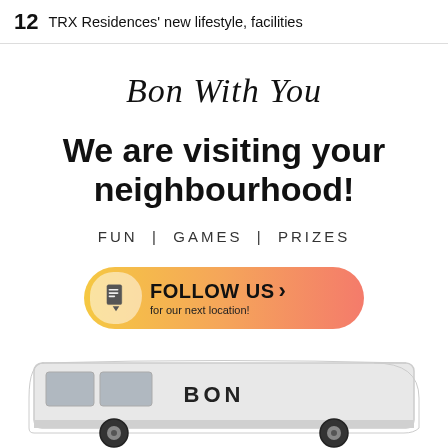12  TRX Residences' new lifestyle, facilities
Bon With You
We are visiting your neighbourhood!
FUN | GAMES | PRIZES
[Figure (infographic): Orange gradient pill-shaped button with a document icon on the left and text 'FOLLOW US > for our next location!']
[Figure (illustration): Bottom portion of a white van with BON branding, partially cropped at the bottom of the page]